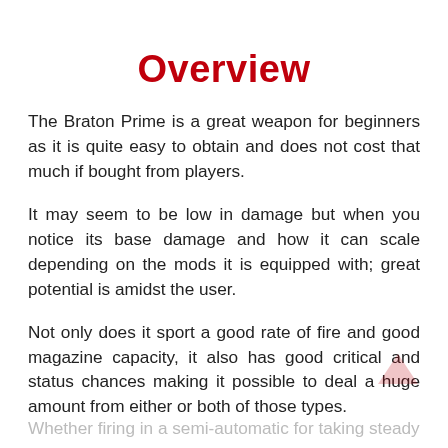Overview
The Braton Prime is a great weapon for beginners as it is quite easy to obtain and does not cost that much if bought from players.
It may seem to be low in damage but when you notice its base damage and how it can scale depending on the mods it is equipped with; great potential is amidst the user.
Not only does it sport a good rate of fire and good magazine capacity, it also has good critical and status chances making it possible to deal a huge amount from either or both of those types.
Whether firing in a semi-automatic for taking steady